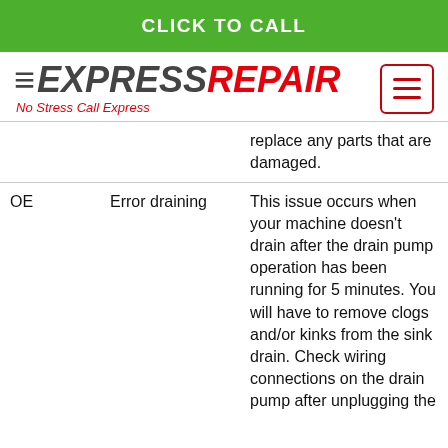CLICK TO CALL
[Figure (logo): Express Repair logo with tagline 'No Stress Call Express' and hamburger menu icon]
replace any parts that are damaged.
| Code | Name | Description |
| --- | --- | --- |
| OE | Error draining | This issue occurs when your machine doesn't drain after the drain pump operation has been running for 5 minutes. You will have to remove clogs and/or kinks from the sink drain. Check wiring connections on the drain pump after unplugging the |